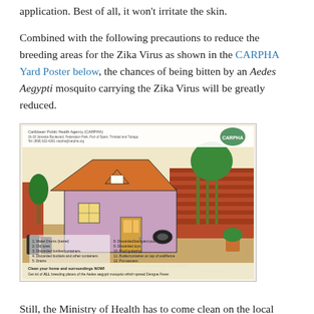application. Best of all, it won't irritate the skin.
Combined with the following precautions to reduce the breeding areas for the Zika Virus as shown in the CARPHA Yard Poster below, the chances of being bitten by an Aedes Aegypti mosquito carrying the Zika Virus will be greatly reduced.
[Figure (illustration): CARPHA Yard Poster illustration showing a house with surrounding yard, depicting various mosquito breeding sites numbered 1-14, with palm trees, brick wall, vegetation, barrels, and outdoor items. Caption at bottom reads: Clean your home and surroundings NOW! Get rid of ALL breeding places of the Aedes aegypti mosquito which spread Dengue Fever. Logo and website www.carpha.org visible.]
Still, the Ministry of Health has to come clean on the local spread of the Zika Virus as well as the facts about the virus in the region.